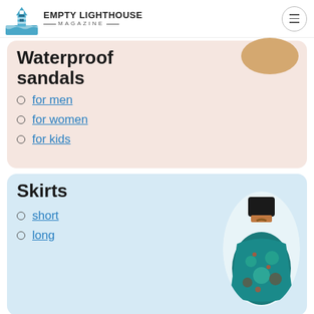EMPTY LIGHTHOUSE MAGAZINE
Waterproof sandals
for men
for women
for kids
Skirts
short
long
...